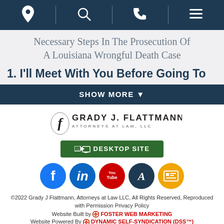Navigation bar with location, search, phone, and menu icons
Necessary Steps In The Prosecution Of A Louisiana Wrongful Death Case
1. I'll Meet With You Before Going To
SHOW MORE ▼
[Figure (logo): Grady J. Flattmann Attorneys at Law, LLC logo]
DESKTOP SITE
[Figure (infographic): Social media icons row: Facebook, LinkedIn, YouTube, Avvo, another legal rating icon]
©2022 Grady J Flattmann, Attorneys at Law LLC, All Rights Reserved, Reproduced with Permission Privacy Policy
Website Built by FOSTER WEB MARKETING
Website Powered By DYNAMIC SELF-SYNDICATION (DSS™)